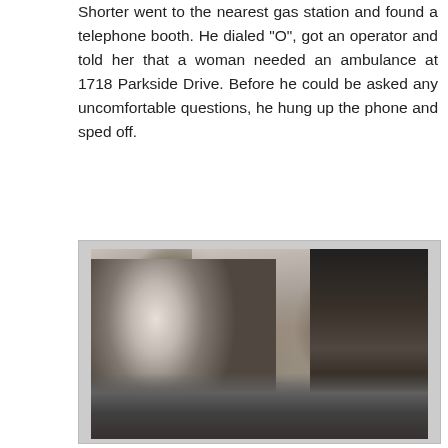Shorter went to the nearest gas station and found a telephone booth. He dialed "O", got an operator and told her that a woman needed an ambulance at 1718 Parkside Drive. Before he could be asked any uncomfortable questions, he hung up the phone and sped off.
[Figure (photo): Black and white photograph of a man leaning over and working on something, with equipment visible on the right side. The image appears to be a historical or journalistic photograph.]